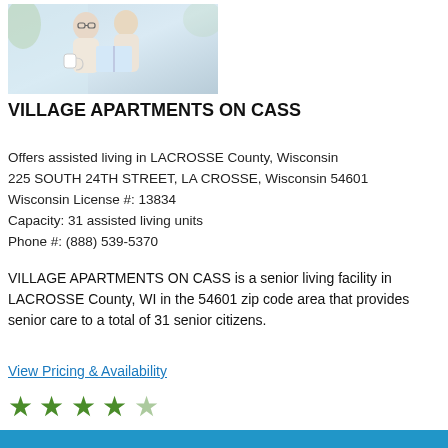[Figure (photo): Two elderly people sitting together, one reading a book and one holding a mug]
VILLAGE APARTMENTS ON CASS
Offers assisted living in LACROSSE County, Wisconsin
225 SOUTH 24TH STREET, LA CROSSE, Wisconsin 54601
Wisconsin License #: 13834
Capacity: 31 assisted living units
Phone #: (888) 539-5370
VILLAGE APARTMENTS ON CASS is a senior living facility in LACROSSE County, WI in the 54601 zip code area that provides senior care to a total of 31 senior citizens.
View Pricing & Availability
[Figure (other): 4 out of 5 stars rating shown as green stars]